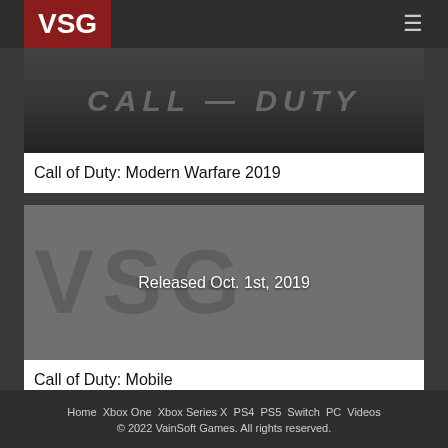VSG
[Figure (photo): Call of Duty Modern Warfare 2019 banner image with dark background and stylized CALL DUTY text]
Call of Duty: Modern Warfare 2019
[Figure (photo): Call of Duty Mobile placeholder image with VSG watermark and text 'Released Oct. 1st, 2019']
Call of Duty: Mobile
Home Xbox One Xbox Series X PS4 PS5 Switch PC Videos
© 2022 VainSoft Games. All rights reserved.